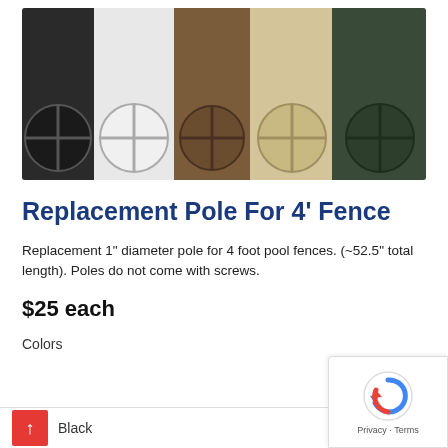[Figure (photo): Photo of multiple cylindrical fence poles in various colors (black, white, brown, beige/tan, dark green) shown end-on, revealing their cross-shaped internal structure]
Replacement Pole For 4' Fence
Replacement 1" diameter pole for 4 foot pool fences. (~52.5" total length). Poles do not come with screws.
$25 each
Colors
Black